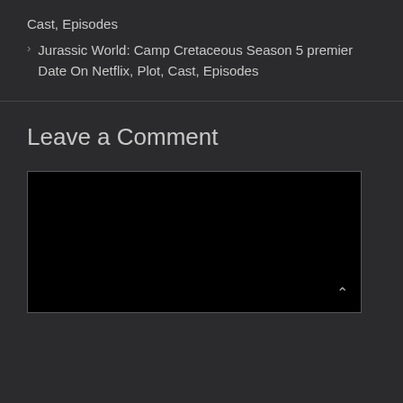Cast, Episodes
› Jurassic World: Camp Cretaceous Season 5 premier Date On Netflix, Plot, Cast, Episodes
Leave a Comment
[Figure (other): Black comment text input area with a scroll-up arrow icon in the bottom right corner]